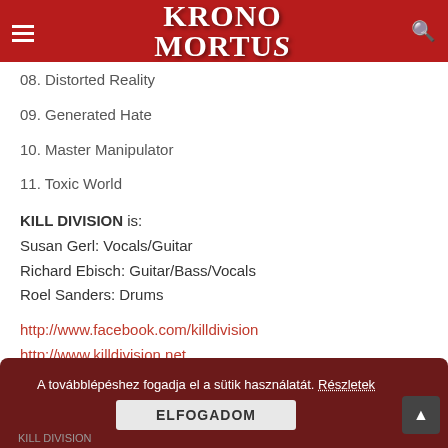KRONOS MORTUS
08. Distorted Reality
09. Generated Hate
10. Master Manipulator
11. Toxic World
KILL DIVISION is:
Susan Gerl: Vocals/Guitar
Richard Ebisch: Guitar/Bass/Vocals
Roel Sanders: Drums
http://www.facebook.com/killdivision
http://www.killdivision.net
http://www.youtube.com/user/killdivisionband
A továbblépéshez fogadja el a sütik használatát. Részletek ELFOGADOM KILL DIVISION